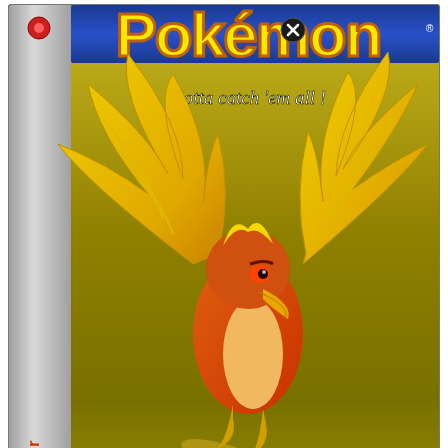[Figure (photo): Pokemon Gold Version Game Boy Color cartridge box cover showing Ho-Oh bird, tagline 'Gotta catch 'em all!', ESRB Everyone rating, Nintendo branding, and GAME BOY Color spine text.]
Source: k.newdayofukraine.org
If you can looking on the internet a best pokemon rom series of pokemon heart gold rom so, you come